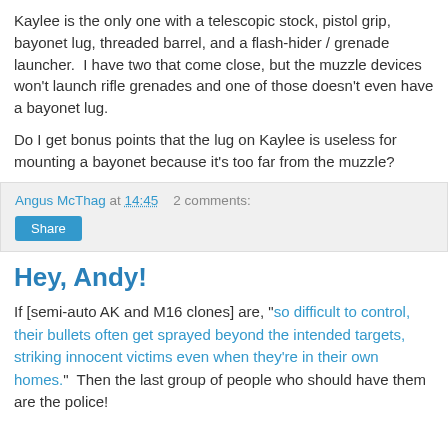Kaylee is the only one with a telescopic stock, pistol grip, bayonet lug, threaded barrel, and a flash-hider / grenade launcher.  I have two that come close, but the muzzle devices won't launch rifle grenades and one of those doesn't even have a bayonet lug.
Do I get bonus points that the lug on Kaylee is useless for mounting a bayonet because it's too far from the muzzle?
Angus McThag at 14:45   2 comments:
Share
Hey, Andy!
If [semi-auto AK and M16 clones] are, "so difficult to control, their bullets often get sprayed beyond the intended targets, striking innocent victims even when they're in their own homes."  Then the last group of people who should have them are the police!